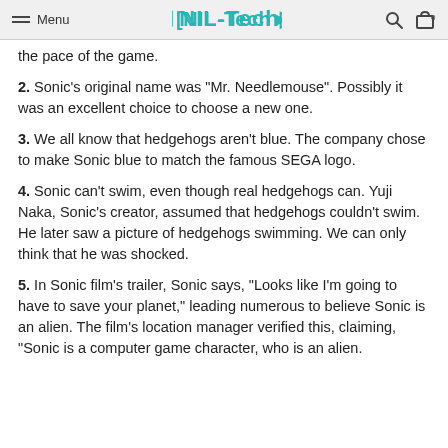Menu | INIL-Tech>
the pace of the game.
2. Sonic's original name was "Mr. Needlemouse". Possibly it was an excellent choice to choose a new one.
3. We all know that hedgehogs aren't blue. The company chose to make Sonic blue to match the famous SEGA logo.
4. Sonic can't swim, even though real hedgehogs can. Yuji Naka, Sonic's creator, assumed that hedgehogs couldn't swim. He later saw a picture of hedgehogs swimming. We can only think that he was shocked.
5. In Sonic film's trailer, Sonic says, "Looks like I'm going to have to save your planet," leading numerous to believe Sonic is an alien. The film's location manager verified this, claiming, "Sonic is a computer game character, who is an alien.